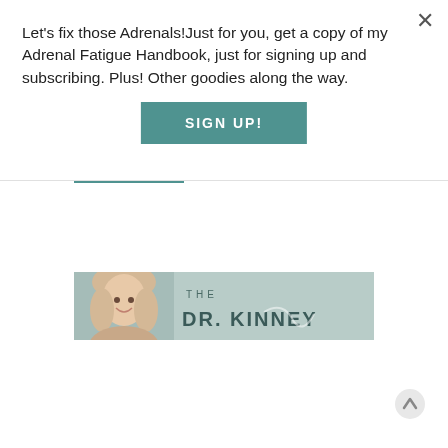Let's fix those Adrenals!Just for you, get a copy of my Adrenal Fatigue Handbook, just for signing up and subscribing. Plus! Other goodies along the way.
[Figure (other): SIGN UP! button - teal/dark cyan rectangular button with white bold uppercase text]
[Figure (illustration): The Dr. Kinney advertisement banner - muted teal/sage background with a woman with blonde hair smiling on the left side, and text 'THE DR. KINNEY' on the right in spaced letters]